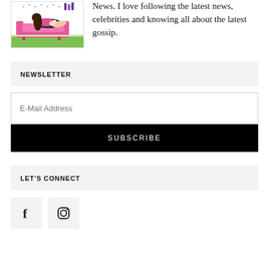[Figure (illustration): Cartoon illustration of a woman reclining on a pink sofa with a small dog, in a stylized fashion/gossip blog style]
News. I love following the latest news, celebrities and knowing all about the latest gossip.
NEWSLETTER
E-Mail Address
SUBSCRIBE
LET'S CONNECT
[Figure (other): Facebook and Instagram social media icons]